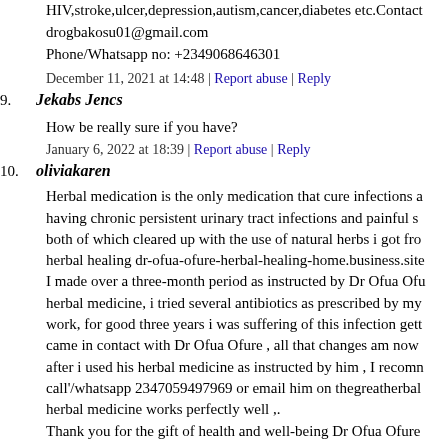HIV,stroke,ulcer,depression,autism,cancer,diabetes etc.Contact drogbakosu01@gmail.com Phone/Whatsapp no: +2349068646301
December 11, 2021 at 14:48 | Report abuse | Reply
9. Jekabs Jencs
How be really sure if you have?
January 6, 2022 at 18:39 | Report abuse | Reply
10. oliviakaren
Herbal medication is the only medication that cure infections a having chronic persistent urinary tract infections and painful s both of which cleared up with the use of natural herbs i got fro herbal healing dr-ofua-ofure-herbal-healing-home.business.site I made over a three-month period as instructed by Dr Ofua Ofu herbal medicine, i tried several antibiotics as prescribed by my work, for good three years i was suffering of this infection gett came in contact with Dr Ofua Ofure , all that changes am now after i used his herbal medicine as instructed by him , I recomn call'/whatsapp 2347059497969 or email him on thegreatherbal herbal medicine works perfectly well ,. Thank you for the gift of health and well-being Dr Ofua Ofure
January 30, 2022 at 23:00 | Report abuse | Reply